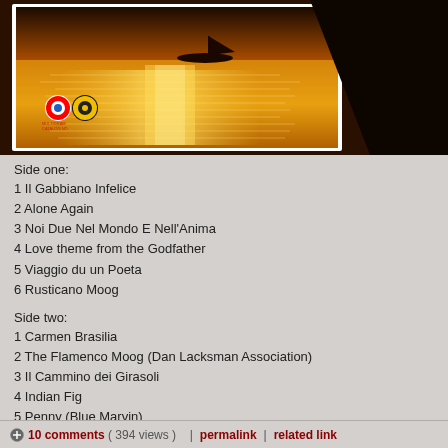[Figure (photo): Album cover image showing a silhouette of a small boat on a golden glittering sea at sunset, with two circular logo icons (red/white and yellow/black) in the lower left corner, and a dark diagonal shape on the right side.]
Side one:
1 Il Gabbiano Infelice
2 Alone Again
3 Noi Due Nel Mondo E Nell'Anima
4 Love theme from the Godfather
5 Viaggio du un Poeta
6 Rusticano Moog
Side two:
1 Carmen Brasilia
2 The Flamenco Moog (Dan Lacksman Association)
3 Il Cammino dei Girasoli
4 Indian Fig
5 Penny (Blue Marvin)
6 My Intermezzo (Blue Marvin)
[Listen low quality fragments]
[Download high quality]
10 comments ( 394 views )  |  permalink  |  related link